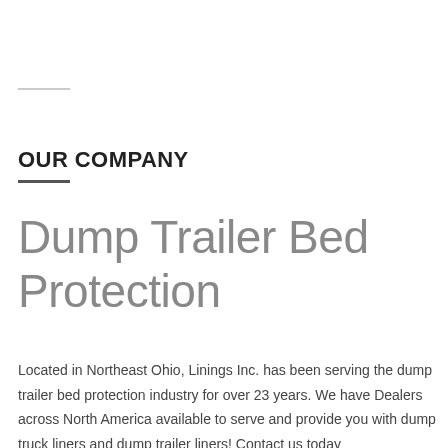OUR COMPANY
Dump Trailer Bed Protection
Located in Northeast Ohio, Linings Inc. has been serving the dump trailer bed protection industry for over 23 years. We have Dealers across North America available to serve and provide you with dump truck liners and dump trailer liners! Contact us today